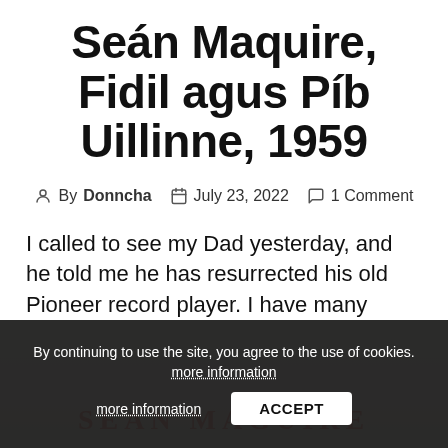Seán Maquire, Fidil agus Píb Uillinne, 1959
By Donncha  July 23, 2022  1 Comment
I called to see my Dad yesterday, and he told me he has resurrected his old Pioneer record player. I have many memories of this device sitting in the corner of the "good room" at home, and after the needle and the rubber band that drives the player were replaced it works really well.
[Figure (photo): Bottom portion of page showing a record sleeve with 'SEAN MAGUIRE' text in red letters, partially obscured by a cookie consent banner.]
By continuing to use the site, you agree to the use of cookies. more information  ACCEPT